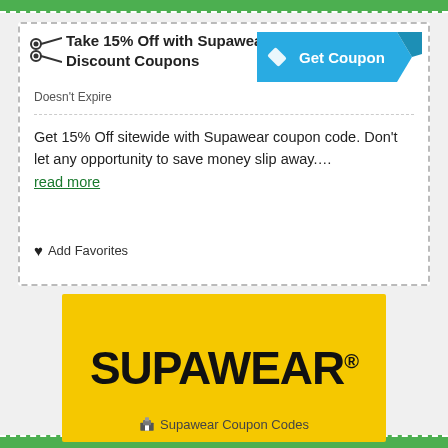Take 15% Off with Supawear Discount Coupons
Doesn't Expire
Get 15% Off sitewide with Supawear coupon code. Don't let any opportunity to save money slip away…. read more
♥ Add Favorites
[Figure (logo): Supawear logo on yellow background with black bold text reading SUPAWEAR with registered trademark symbol]
🏛 Supawear Coupon Codes